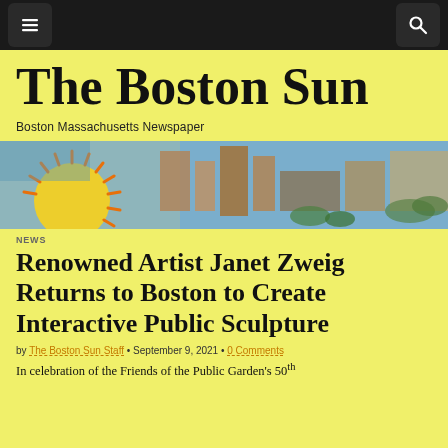Navigation bar with menu and search buttons
The Boston Sun
Boston Massachusetts Newspaper
[Figure (photo): Aerial photo of Boston city with a sun logo overlay on the left side]
NEWS
Renowned Artist Janet Zweig Returns to Boston to Create Interactive Public Sculpture
by The Boston Sun Staff • September 9, 2021 • 0 Comments
In celebration of the Friends of the Public Garden's 50th